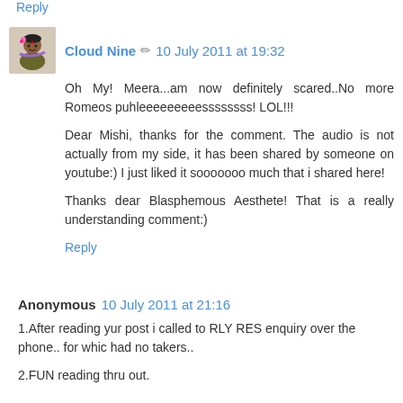Reply
Cloud Nine 🖉 10 July 2011 at 19:32
Oh My! Meera...am now definitely scared..No more Romeos puhleeeeeeeeessssssss! LOL!!!
Dear Mishi, thanks for the comment. The audio is not actually from my side, it has been shared by someone on youtube:) I just liked it sooooooo much that i shared here!
Thanks dear Blasphemous Aesthete! That is a really understanding comment:)
Reply
Anonymous 10 July 2011 at 21:16
1.After reading yur post i called to RLY RES enquiry over the phone.. for whic had no takers..
2.FUN reading thru out.